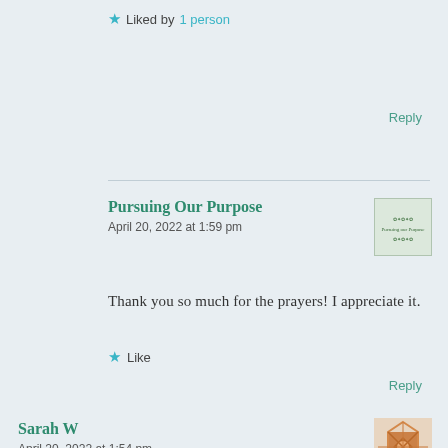Liked by 1 person
Reply
Pursuing Our Purpose
April 20, 2022 at 1:59 pm
[Figure (logo): Pursuing Our Purpose blog avatar/logo thumbnail]
Thank you so much for the prayers! I appreciate it.
Like
Reply
Sarah W
April 20, 2022 at 1:54 pm
[Figure (illustration): Sarah W geometric quilt-pattern avatar in orange/brown tones]
Wow! What an amazing opportunity for you to serve